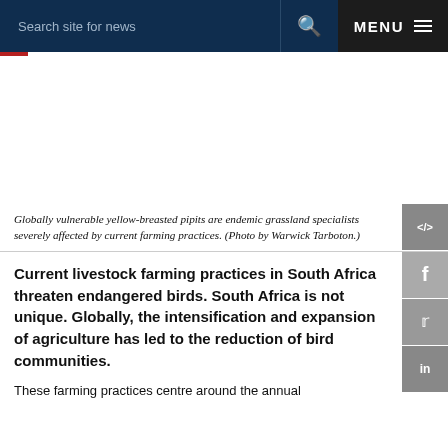Search site for news  MENU
[Figure (photo): Image area placeholder for yellow-breasted pipits photo (white/blank in this crop)]
Globally vulnerable yellow-breasted pipits are endemic grassland specialists severely affected by current farming practices. (Photo by Warwick Tarboton.)
Current livestock farming practices in South Africa threaten endangered birds. South Africa is not unique. Globally, the intensification and expansion of agriculture has led to the reduction of bird communities.
These farming practices centre around the annual